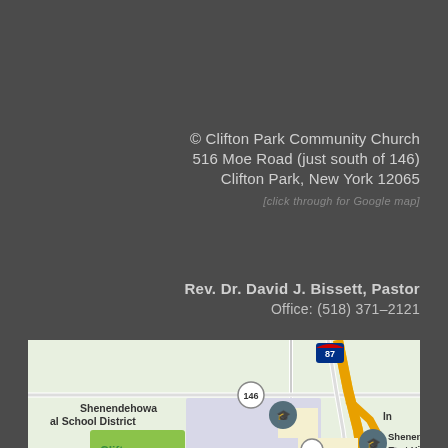© Clifton Park Community Church
516 Moe Road (just south of 146)
Clifton Park, New York 12065
[click through for Google map]
Rev. Dr. David J. Bissett, Pastor
Office: (518) 371–2121
[Figure (map): Google map showing area around Clifton Park Community Church on Moe Road, with labels for Shenendehowa Central School District, Clifton Common, Shenendehowa East High School, Route 146, Route 9, I-87, Clifton Park Center Rd.]